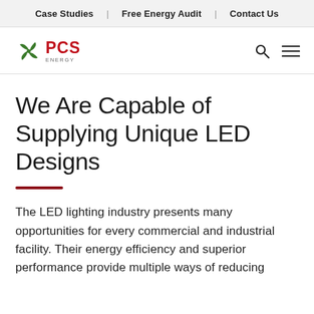Case Studies | Free Energy Audit | Contact Us
[Figure (logo): PCS Energy logo with green windmill/fan icon and red PCS text]
We Are Capable of Supplying Unique LED Designs
The LED lighting industry presents many opportunities for every commercial and industrial facility. Their energy efficiency and superior performance provide multiple ways of reducing